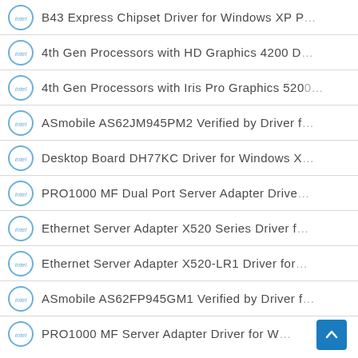B43 Express Chipset Driver for Windows XP P…
4th Gen Processors with HD Graphics 4200 D…
4th Gen Processors with Iris Pro Graphics 5200…
ASmobile AS62JM945PM2 Verified by Driver f…
Desktop Board DH77KC Driver for Windows X…
PRO1000 MF Dual Port Server Adapter Drive…
Ethernet Server Adapter X520 Series Driver f…
Ethernet Server Adapter X520-LR1 Driver for…
ASmobile AS62FP945GM1 Verified by Driver f…
PRO1000 MF Server Adapter Driver for W…